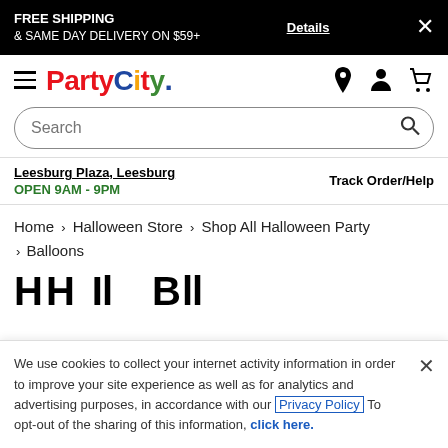FREE SHIPPING & SAME DAY DELIVERY ON $59+ Details ×
[Figure (logo): Party City logo with colored letters]
Search
Leesburg Plaza, Leesburg
OPEN 9AM - 9PM
Track Order/Help
Home › Halloween Store › Shop All Halloween Party › Balloons
We use cookies to collect your internet activity information in order to improve your site experience as well as for analytics and advertising purposes, in accordance with our Privacy Policy. To opt-out of the sharing of this information, click here.